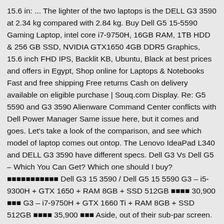15.6 in: ... The lighter of the two laptops is the DELL G3 3590 at 2.34 kg compared with 2.84 kg. Buy Dell G5 15-5590 Gaming Laptop, intel core i7-9750H, 16GB RAM, 1TB HDD & 256 GB SSD, NVIDIA GTX1650 4GB DDR5 Graphics, 15.6 inch FHD IPS, Backlit KB, Ubuntu, Black at best prices and offers in Egypt, Shop online for Laptops & Notebooks Fast and free shipping Free returns Cash on delivery available on eligible purchase | Souq.com Display. Re: G5 5590 and G3 3590 Alienware Command Center conflicts with Dell Power Manager Same issue here, but it comes and goes. Let's take a look of the comparison, and see which model of laptop comes out ontop. The Lenovo IdeaPad L340 and DELL G3 3590 have different specs. Dell G3 Vs Dell G5 – Which You Can Get? Which one should I buy? ■■■■■■■■■■■ Dell G3 15 3590 / Dell G5 15 5590 G3 – i5-9300H + GTX 1650 + RAM 8GB + SSD 512GB ■■■■ 30,900 ■■■ G3 – i7-9750H + GTX 1660 Ti + RAM 8GB + SSD 512GB ■■■■ 35,900 ■■■ Aside, out of their sub-par screen. Design. Price And Launch. Right now you can have it with Intel Core i7-9750H and NVIDIA GeForce GTX 1660 Ti at a bargain price. Let's see how